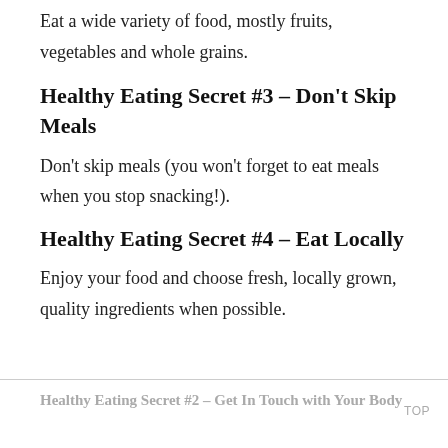Eat a wide variety of food, mostly fruits, vegetables and whole grains.
Healthy Eating Secret #3 – Don't Skip Meals
Don't skip meals (you won't forget to eat meals when you stop snacking!).
Healthy Eating Secret #4 – Eat Locally
Enjoy your food and choose fresh, locally grown, quality ingredients when possible.
Healthy Eating Secret #2 – Get In Touch with Your Body